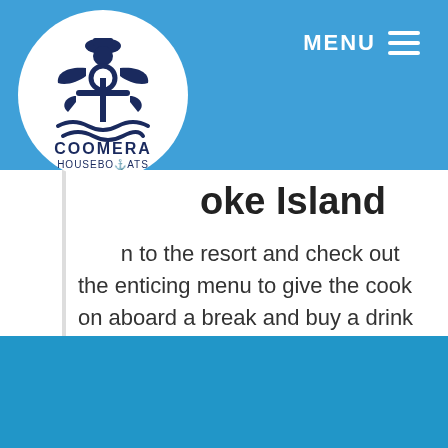MENU
[Figure (logo): Coomera Houseboats logo — anchor with a figure on top, waves at bottom, text COOMERA HOUSEBOATS in a white circle]
oke Island
...n to the resort and check out the enticing menu to give the cook on aboard a break and buy a drink from the licenced bar. This all weather venue is set in a beautiful natural setting overlooks its own calm water private beach and is ideal for a beach lunch or a range of
Call 07 5502 6200
FREE QUOTATION